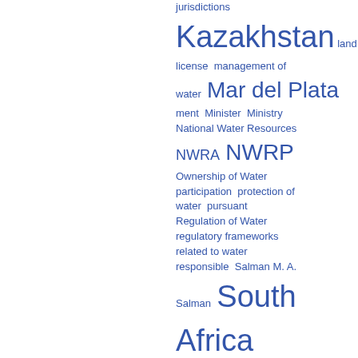jurisdictions Kazakhstan land license management of water Mar del Plata ment Minister Ministry National Water Resources NWRA NWRP Ownership of Water participation protection of water pursuant Regulation of Water regulatory frameworks related to water responsible Salman M. A. Salman South Africa specific stipulates supra surface water sustainable tion transfer water basin water bodies Water